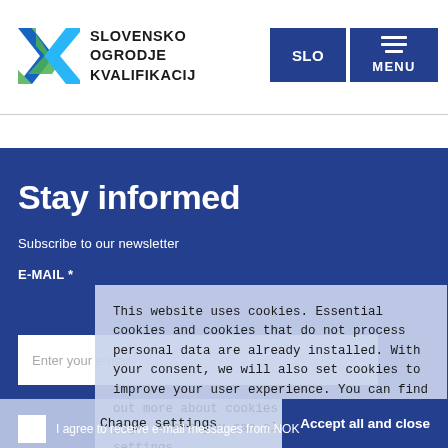[Figure (logo): Slovensko Ogrodje Kvalifikacij logo with angular arrow shapes in blue and green]
SLOVENSKO OGRODJE KVALIFIKACIJ
Stay informed
Subscribe to our newsletter
E-MAIL *
This website uses cookies. Essential cookies and cookies that do not process personal data are already installed. With your consent, we will also set cookies to improve your user experience. You can find out more about cookies on the Cookies page, where you can also edit your settings.
Change settings
Accept all and close
Enter your e-mail
I agree to receive e-mail messages from NOK